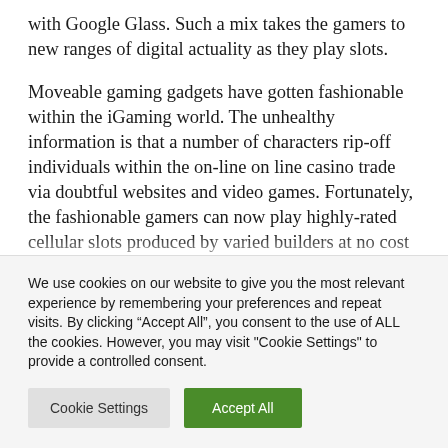with Google Glass. Such a mix takes the gamers to new ranges of digital actuality as they play slots.
Moveable gaming gadgets have gotten fashionable within the iGaming world. The unhealthy information is that a number of characters rip-off individuals within the on-line on line casino trade via doubtful websites and video games. Fortunately, the fashionable gamers can now play highly-rated cellular slots produced by varied builders at no cost or with actual cash, and having
We use cookies on our website to give you the most relevant experience by remembering your preferences and repeat visits. By clicking “Accept All”, you consent to the use of ALL the cookies. However, you may visit "Cookie Settings" to provide a controlled consent.